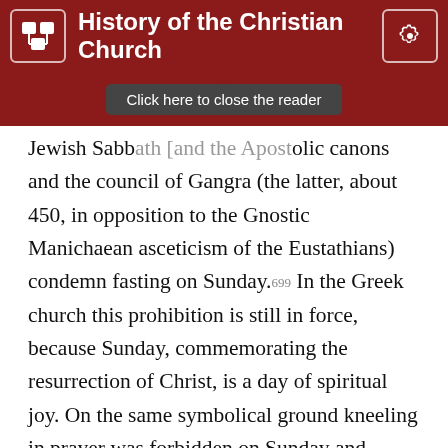History of the Christian Church
Click here to close the reader
Jewish Sabbath [and the Apostolic] canons and the council of Gangra (the latter, about 450, in opposition to the Gnostic Manichaean asceticism of the Eustathians) condemn fasting on Sunday.699 In the Greek church this prohibition is still in force, because Sunday, commemorating the resurrection of Christ, is a day of spiritual joy. On the same symbolical ground kneeling in prayer was forbidden on Sunday and through the whole time of Easter until Pentecost. The general council of Nicaeea, in 325, issued on this point in the twentieth canon the following decision: “Whereas some bow the knee on Sunday and on the days of